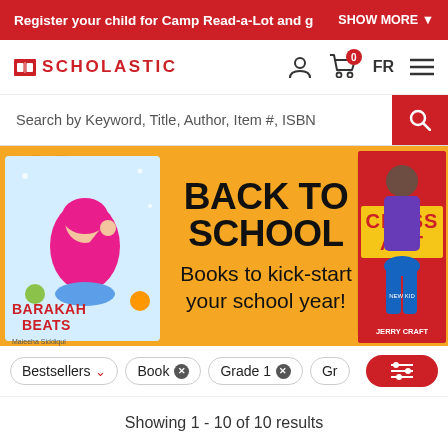Register your child for Camp Read-a-Lot and g   SHOW MORE ↓
[Figure (logo): Scholastic logo with open book icon and name in red, plus user/cart/FR/menu icons]
Search by Keyword, Title, Author, Item #, ISBN
[Figure (illustration): Back to School promotional banner in orange with Barakah Beats book on left, Class Act book on right, and text: BACK TO SCHOOL - Books to kick-start your school year!]
Bestsellers ∨
Book ✕
Grade 1 ✕
Gr
Showing 1 - 10 of 10 results